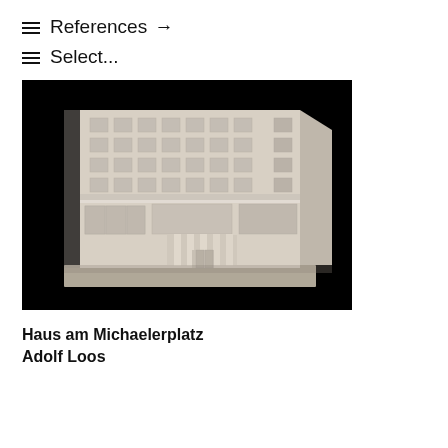≡ References →
≡ Select...
[Figure (photo): Architectural scale model of Haus am Michaelerplatz by Adolf Loos, photographed against a black background. Shows the lower floors of a multi-story corner building with classical columns at the entrance and grid-pattern windows on upper floors.]
Haus am Michaelerplatz
Adolf Loos